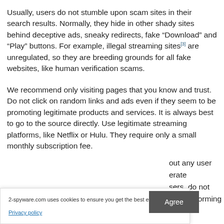Usually, users do not stumble upon scam sites in their search results. Normally, they hide in other shady sites behind deceptive ads, sneaky redirects, fake “Download” and “Play” buttons. For example, illegal streaming sites[3] are unregulated, so they are breeding grounds for all fake websites, like human verification scams.
We recommend only visiting pages that you know and trust. Do not click on random links and ads even if they seem to be promoting legitimate products and services. It is always best to go to the source directly. Use legitimate streaming platforms, like Netflix or Hulu. They require only a small monthly subscription fee.
2-spyware.com uses cookies to ensure you get the best experience.
Privacy policy
Agree
...out any user ...erate ...sers, do not ...rted performing